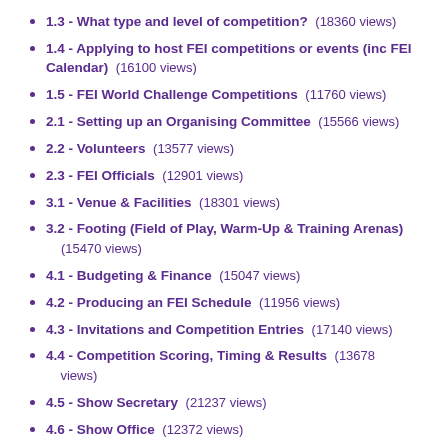1.3 - What type and level of competition? (18360 views)
1.4 - Applying to host FEI competitions or events (inc FEI Calendar) (16100 views)
1.5 - FEI World Challenge Competitions (11760 views)
2.1 - Setting up an Organising Committee (15566 views)
2.2 - Volunteers (13577 views)
2.3 - FEI Officials (12901 views)
3.1 - Venue & Facilities (18301 views)
3.2 - Footing (Field of Play, Warm-Up & Training Arenas) (15470 views)
4.1 - Budgeting & Finance (15047 views)
4.2 - Producing an FEI Schedule (11956 views)
4.3 - Invitations and Competition Entries (17140 views)
4.4 - Competition Scoring, Timing & Results (13678 views)
4.5 - Show Secretary (21237 views)
4.6 - Show Office (12372 views)
4.7 - General Event Management & Operations (53718